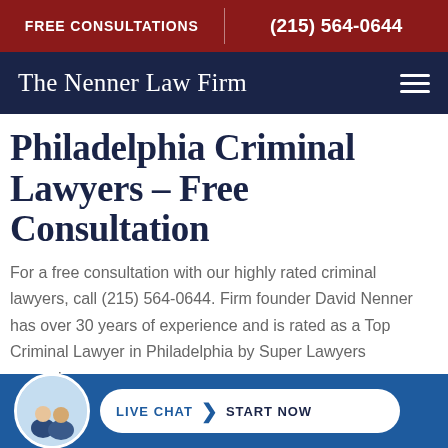FREE CONSULTATIONS | (215) 564-0644
The Nenner Law Firm
PHILADELPHIA CRIMINAL LAWYERS – FREE CONSULTATION
For a free consultation with our highly rated criminal lawyers, call (215) 564-0644. Firm founder David Nenner has over 30 years of experience and is rated as a Top Criminal Lawyer in Philadelphia by Super Lawyers magazine.
[Figure (infographic): Live Chat bar with two attorney avatar photo, and a button reading LIVE CHAT > START NOW]